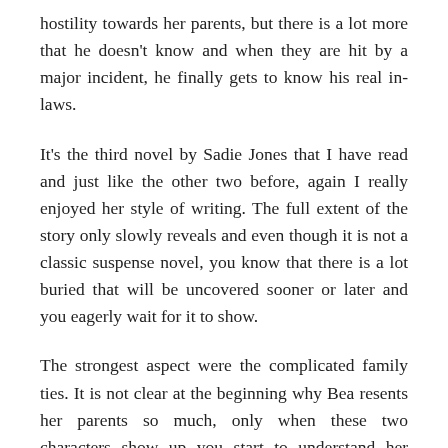hostility towards her parents, but there is a lot more that he doesn't know and when they are hit by a major incident, he finally gets to know his real in-laws.
It's the third novel by Sadie Jones that I have read and just like the other two before, again I really enjoyed her style of writing. The full extent of the story only slowly reveals and even though it is not a classic suspense novel, you know that there is a lot buried that will be uncovered sooner or later and you eagerly wait for it to show.
The strongest aspect were the complicated family ties. It is not clear at the beginning why Bea resents her parents so much, only when these two characters show up you start to understand her hatred and why she tried to cut all bonds. It is clearly a dysfunctional family in all respects: a strong and stubborn father who, self-centred